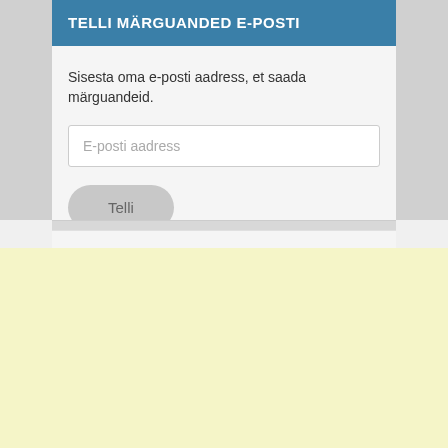TELLI MÄRGUANDED E-POSTI
Sisesta oma e-posti aadress, et saada märguandeid.
E-posti aadress
Telli